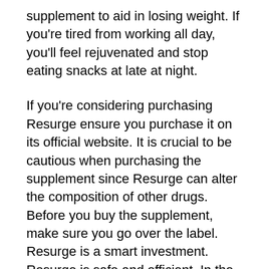supplement to aid in losing weight. If you're tired from working all day, you'll feel rejuvenated and stop eating snacks at late at night.
If you're considering purchasing Resurge ensure you purchase it on its official website. It is crucial to be cautious when purchasing the supplement since Resurge can alter the composition of other drugs. Before you buy the supplement, make sure you go over the label. Resurge is a smart investment. Resurge is safe and efficient. In the blink of an eye you'll feel great!
The Resurge supplement can be used with confidence. The ingredients are safe for your health and won't cause harm. All products